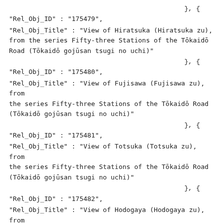}, {
"Rel_Obj_ID" : "175479",
"Rel_Obj_Title" : "View of Hiratsuka (Hiratsuka zu), from the series Fifty-three Stations of the Tōkaidō Road (Tōkaidō gojūsan tsugi no uchi)"
}, {
"Rel_Obj_ID" : "175480",
"Rel_Obj_Title" : "View of Fujisawa (Fujisawa zu), from the series Fifty-three Stations of the Tōkaidō Road (Tōkaidō gojūsan tsugi no uchi)"
}, {
"Rel_Obj_ID" : "175481",
"Rel_Obj_Title" : "View of Totsuka (Totsuka zu), from the series Fifty-three Stations of the Tōkaidō Road (Tōkaidō gojūsan tsugi no uchi)"
}, {
"Rel_Obj_ID" : "175482",
"Rel_Obj_Title" : "View of Hodogaya (Hodogaya zu), from the series Fifty-three Stations of the Tōkaidō Road (Tōkaidō gojūsan tsugi no uchi)"
}, {